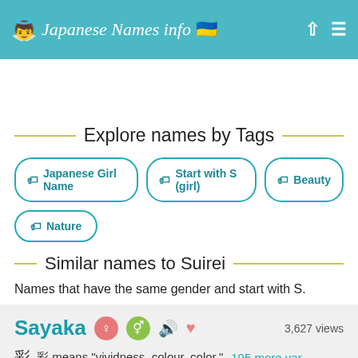Japanese Names info
Explore names by Tags
Japanese Girl Name
Start with S (girl)
Beauty
Nature
Similar names to Suirei
Names that have the same gender and start with S.
Sayaka  3,627 views
彩 means "vividness, colour, color." 195 more var.